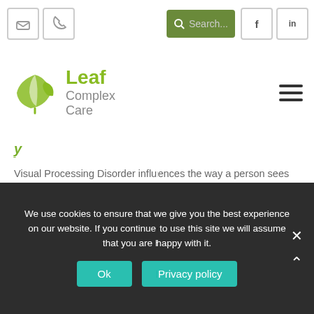[Figure (logo): Leaf Complex Care logo with green leaf icon and text]
Visual Processing Disorder influences the way a person sees things. It is not a visual disability, as individuals can often have excellent vision, but the ability to understand what they are looking at can be difficult.
Visual Processing Disorder can make school difficult for children. Individuals can have a limited understanding of words and letters due to being a
We use cookies to ensure that we give you the best experience on our website. If you continue to use this site we will assume that you are happy with it.